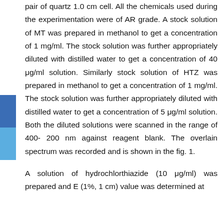pair of quartz 1.0 cm cell. All the chemicals used during the experimentation were of AR grade. A stock solution of MT was prepared in methanol to get a concentration of 1 mg/ml. The stock solution was further appropriately diluted with distilled water to get a concentration of 40 μg/ml solution. Similarly stock solution of HTZ was prepared in methanol to get a concentration of 1 mg/ml. The stock solution was further appropriately diluted with distilled water to get a concentration of 5 μg/ml solution. Both the diluted solutions were scanned in the range of 400- 200 nm against reagent blank. The overlain spectrum was recorded and is shown in the fig. 1.
A solution of hydrochlorthiazide (10 μg/ml) was prepared and E (1%, 1 cm) value was determined at